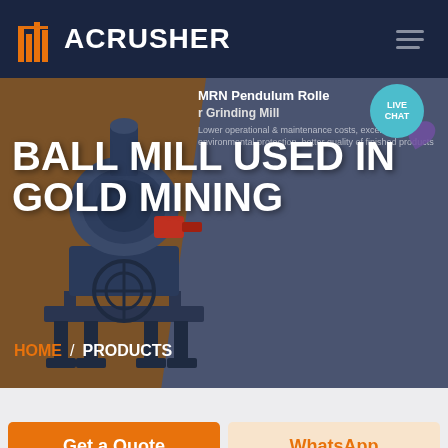ACRUSHER
BALL MILL USED IN GOLD MINING
MRN Pendulum Roller Grinding Mill
Lower operational & maintenance costs, excellent environmental protection, better quality of finished products
HOME / PRODUCTS
[Figure (screenshot): Industrial ball mill / grinding machine product photo on brown background]
LIVE CHAT
Get a Quote
WhatsApp